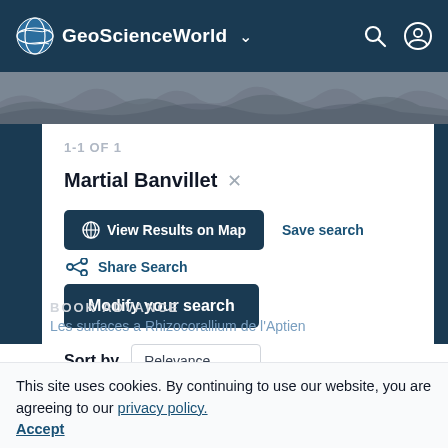GeoScienceWorld
1-1 OF 1
Martial Banvillet ×
⊕ View Results on Map   Save search   ∞ Share Search
Modify your search
Sort by  Relevance
This site uses cookies. By continuing to use our website, you are agreeing to our privacy policy. Accept